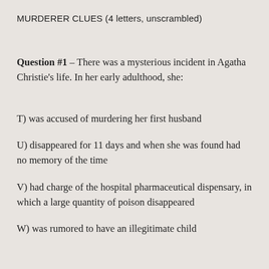MURDERER CLUES (4 letters, unscrambled)
Question #1 – There was a mysterious incident in Agatha Christie's life. In her early adulthood, she:
T) was accused of murdering her first husband
U) disappeared for 11 days and when she was found had no memory of the time
V) had charge of the hospital pharmaceutical dispensary, in which a large quantity of poison disappeared
W) was rumored to have an illegitimate child